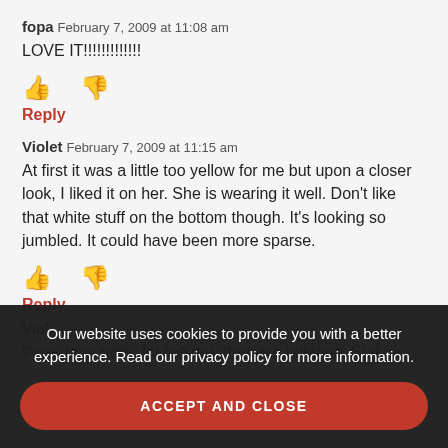fopa February 7, 2009 at 11:08 am
LOVE IT!!!!!!!!!!!!!
Reply
Violet February 7, 2009 at 11:15 am
At first it was a little too yellow for me but upon a closer look, I liked it on her. She is wearing it well. Don’t like that white stuff on the bottom though. It’s looking so jumbled. It could have been more sparse.
Reply
Violet February 7, 2009 at 11:...
those long nails, tat too red, they are irritating. She
Our website uses cookies to provide you with a better experience. Read our privacy policy for more information.
ACCEPT AND CLOSE